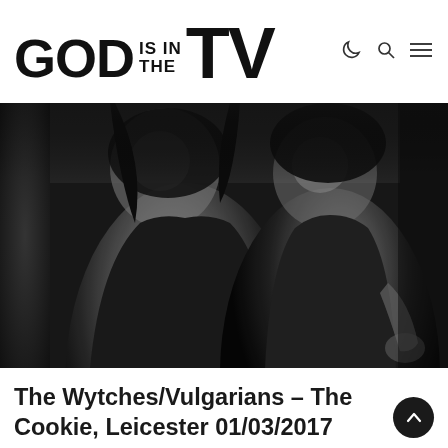GOD IS IN THE TV
[Figure (photo): Black and white photo of two people (band members), close-up, dark moody lighting, one on the left with long dark hair, one on the right in a dark t-shirt]
The Wytches/Vulgarians – The Cookie, Leicester 01/03/2017